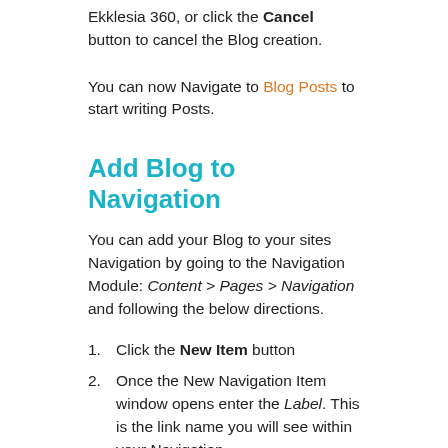Ekklesia 360, or click the Cancel button to cancel the Blog creation.
You can now Navigate to Blog Posts to start writing Posts.
Add Blog to Navigation
You can add your Blog to your sites Navigation by going to the Navigation Module: Content > Pages > Navigation and following the below directions.
Click the New Item button
Once the New Navigation Item window opens enter the Label. This is the link name you will see within your Navigation
Enter the Content. Click on the View All link and select the desired Blog.